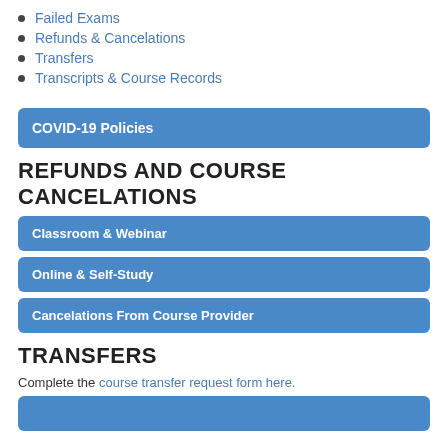Failed Exams
Refunds & Cancelations
Transfers
Transcripts & Course Records
COVID-19 Policies
REFUNDS AND COURSE CANCELATIONS
Classroom & Webinar
Online & Self-Study
Cancelations From Course Provider
TRANSFERS
Complete the course transfer request form here.